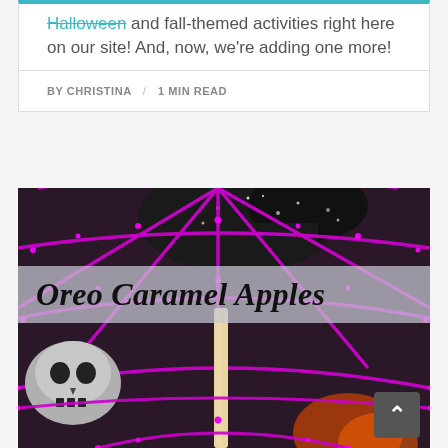Halloween and fall-themed activities right here on our site! And, now, we're adding one more!
BY CHRISTINA / 1 MIN READ
[Figure (photo): Photo of Oreo Caramel Apples with Halloween decorations including purple glitter spider web, black skull decorations, and a caramel apple on a stick. A banner overlay reads 'Oreo Caramel Apples' in a spooky font.]